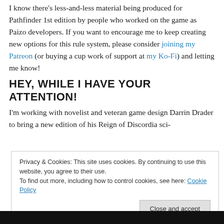I know there's less-and-less material being produced for Pathfinder 1st edition by people who worked on the game as Paizo developers. If you want to encourage me to keep creating new options for this rule system, please consider joining my Patreon (or buying a cup work of support at my Ko-Fi) and letting me know!
HEY, WHILE I HAVE YOUR ATTENTION!
I'm working with novelist and veteran game design Darrin Drader to bring a new edition of his Reign of Discordia sci-
Privacy & Cookies: This site uses cookies. By continuing to use this website, you agree to their use.
To find out more, including how to control cookies, see here: Cookie Policy